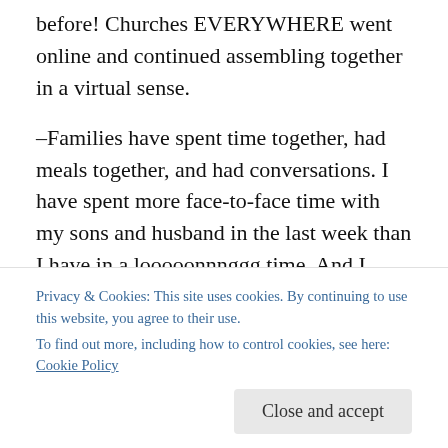before! Churches EVERYWHERE went online and continued assembling together in a virtual sense.
–Families have spent time together, had meals together, and had conversations. I have spent more face-to-face time with my sons and husband in the last week than I have in a looooonnnggg time. And I have loved it!
–Teachers' hearts have broken and grown even bigger for their profession. I have really started to re-think how children learn, and while I will always appreciate structure and routine, I see that my own kids learn differently at
Privacy & Cookies: This site uses cookies. By continuing to use this website, you agree to their use.
To find out more, including how to control cookies, see here: Cookie Policy
with joy.